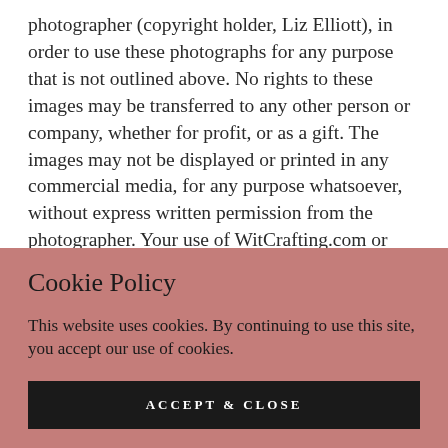photographer (copyright holder, Liz Elliott), in order to use these photographs for any purpose that is not outlined above. No rights to these images may be transferred to any other person or company, whether for profit, or as a gift. The images may not be displayed or printed in any commercial media, for any purpose whatsoever, without express written permission from the photographer. Your use of WitCrafting.com or viewing of this statement
Cookie Policy
This website uses cookies. By continuing to use this site, you accept our use of cookies.
ACCEPT & CLOSE